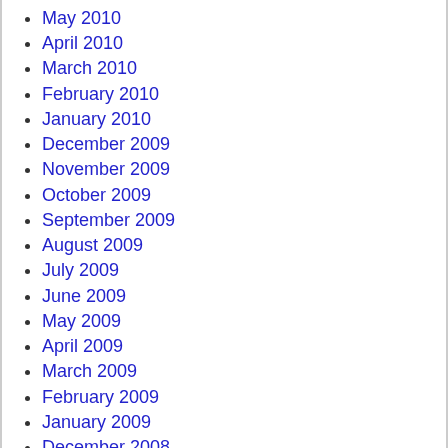May 2010
April 2010
March 2010
February 2010
January 2010
December 2009
November 2009
October 2009
September 2009
August 2009
July 2009
June 2009
May 2009
April 2009
March 2009
February 2009
January 2009
December 2008
November 2008
October 2008
September 2008
August 2008